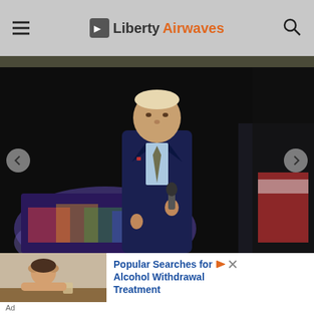Liberty Airwaves
[Figure (photo): Man in dark navy suit holding a microphone, speaking at an event, dark background]
[Figure (photo): Advertisement: person with head in hands at a table with a drink glass. Text: Popular Searches for Alcohol Withdrawal Treatment]
Popular Searches for Alcohol Withdrawal Treatment
Ad